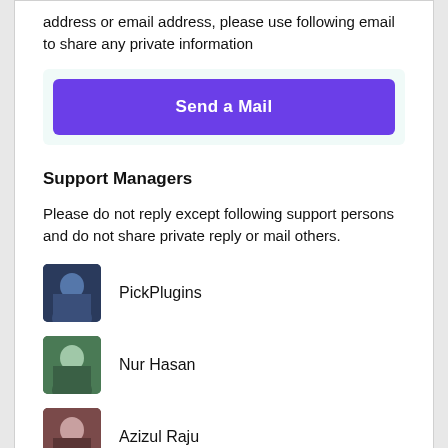address or email address, please use following email to share any private information
Send a Mail
Support Managers
Please do not reply except following support persons and do not share private reply or mail others.
PickPlugins
Nur Hasan
Azizul Raju